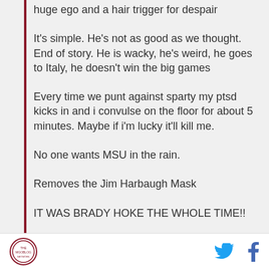huge ego and a hair trigger for despair
It's simple. He's not as good as we thought. End of story. He is wacky, he's weird, he goes to Italy, he doesn't win the big games
Every time we punt against sparty my ptsd kicks in and i convulse on the floor for about 5 minutes. Maybe if i'm lucky it'll kill me.
No one wants MSU in the rain.
Removes the Jim Harbaugh Mask
IT WAS BRADY HOKE THE WHOLE TIME!!
Glad Michigan spent their bye week focusing on
[logo] [twitter] [facebook]